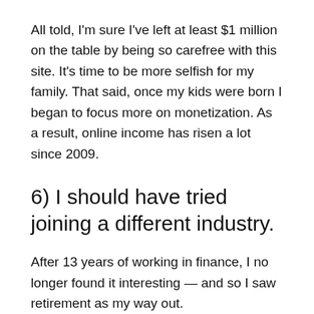All told, I'm sure I've left at least $1 million on the table by being so carefree with this site. It's time to be more selfish for my family. That said, once my kids were born I began to focus more on monetization. As a result, online income has risen a lot since 2009.
6) I should have tried joining a different industry.
After 13 years of working in finance, I no longer found it interesting — and so I saw retirement as my way out.
Looking back, I wish I took the time to explore different industries. I often toyed with the idea of